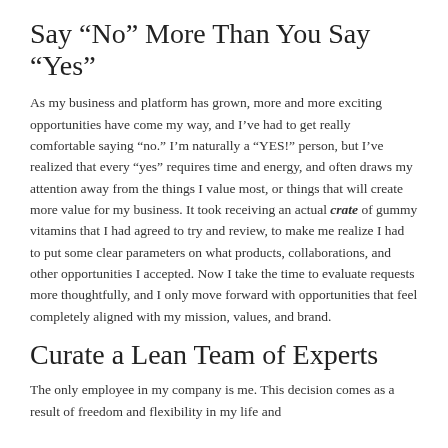Say “No” More Than You Say “Yes”
As my business and platform has grown, more and more exciting opportunities have come my way, and I’ve had to get really comfortable saying “no.” I’m naturally a “YES!” person, but I’ve realized that every “yes” requires time and energy, and often draws my attention away from the things I value most, or things that will create more value for my business. It took receiving an actual crate of gummy vitamins that I had agreed to try and review, to make me realize I had to put some clear parameters on what products, collaborations, and other opportunities I accepted. Now I take the time to evaluate requests more thoughtfully, and I only move forward with opportunities that feel completely aligned with my mission, values, and brand.
Curate a Lean Team of Experts
The only employee in my company is me. This decision comes as a result of freedom and flexibility in my life and